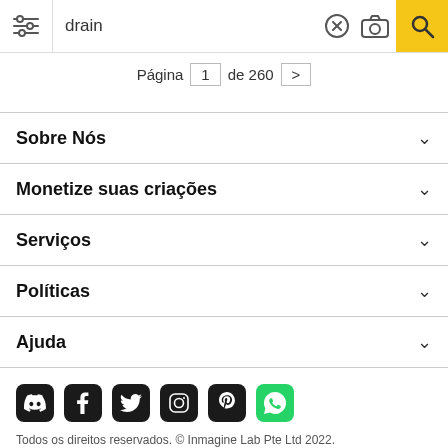drain — Página 1 de 260
Sobre Nós
Monetize suas criações
Serviços
Políticas
Ajuda
[Figure (illustration): Social media icons row: Discord, Facebook, Twitter, Instagram, Pinterest, WhatsApp]
Todos os direitos reservados. © Inmagine Lab Pte Ltd 2022.